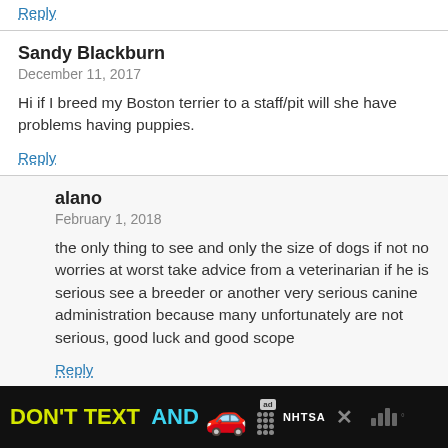Reply
Sandy Blackburn
December 11, 2017

Hi if I breed my Boston terrier to a staff/pit will she have problems having puppies.
Reply
alano
February 1, 2018

the only thing to see and only the size of dogs if not no worries at worst take advice from a veterinarian if he is serious see a breeder or another very serious canine administration because many unfortunately are not serious, good luck and good scope
Reply
[Figure (infographic): Advertisement banner: DON'T TEXT AND [car emoji] with ad badge and NHTSA logo on black background]